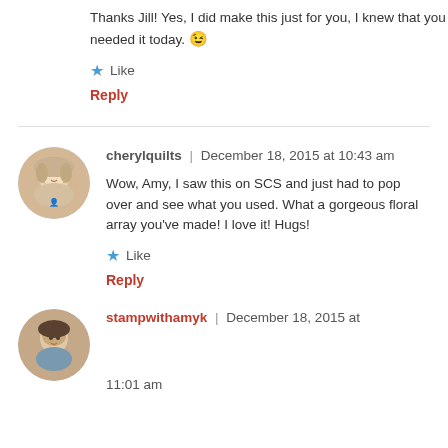Thanks Jill! Yes, I did make this just for you, I knew that you needed it today. 😉
Like
Reply
cherylquilts | December 18, 2015 at 10:43 am
Wow, Amy, I saw this on SCS and just had to pop over and see what you used. What a gorgeous floral array you've made! I love it! Hugs!
Like
Reply
stampwithamyk | December 18, 2015 at 11:01 am